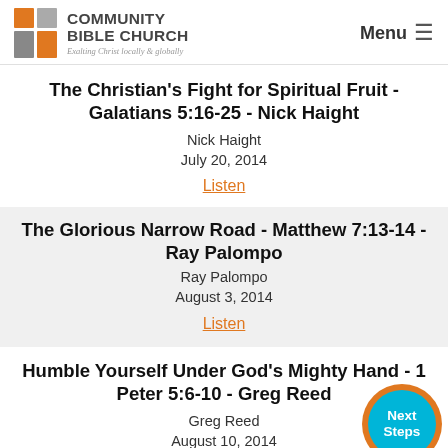Community Bible Church — Exalting Christ locally & globally | Menu
The Christian's Fight for Spiritual Fruit - Galatians 5:16-25 - Nick Haight
Nick Haight
July 20, 2014
Listen
The Glorious Narrow Road - Matthew 7:13-14 - Ray Palompo
Ray Palompo
August 3, 2014
Listen
Humble Yourself Under God's Mighty Hand - 1 Peter 5:6-10 - Greg Reed
Greg Reed
August 10, 2014
[Figure (logo): Next Steps circular button in teal/cyan with orange ring]